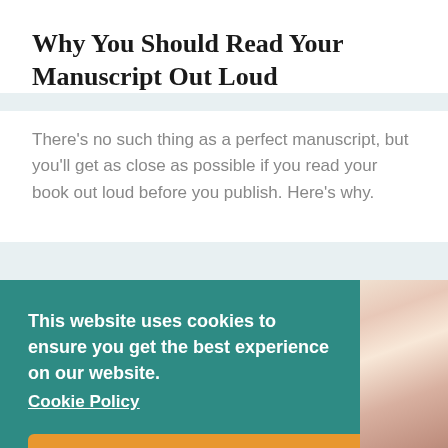Why You Should Read Your Manuscript Out Loud
There's no such thing as a perfect manuscript, but you'll get as close as possible if you read your book out loud before you publish. Here's why.
This website uses cookies to ensure you get the best experience on our website. Cookie Policy
Got it!